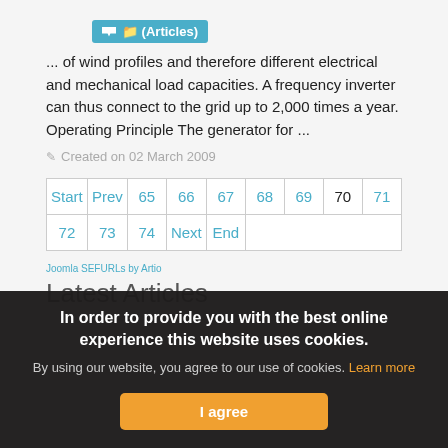(Articles)
... of wind profiles and therefore different electrical and mechanical load capacities. A frequency inverter can thus connect to the grid up to 2,000 times a year. Operating Principle The generator for ...
Created on 02 March 2009
| Start | Prev | 65 | 66 | 67 | 68 | 69 | 70 | 71 |
| 72 | 73 | 74 | Next | End |
Joomla SEFURLs by Artio
Latest Articles
In order to provide you with the best online experience this website uses cookies.
By using our website, you agree to our use of cookies. Learn more
I agree